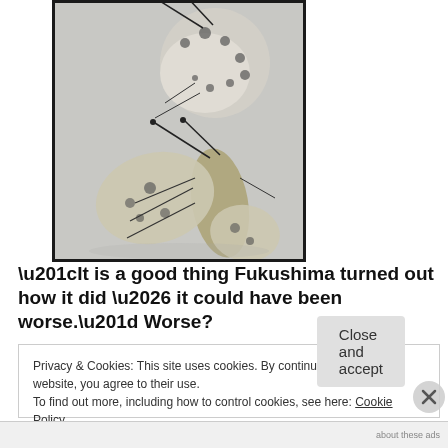[Figure (photo): Close-up photograph of a butterfly with spotted white/grey wings, showing damaged or deformed wings, on a light background. The image is bordered by a thick black frame.]
“It is a good thing Fukushima turned out how it did … it could have been worse.” Worse?
Privacy & Cookies: This site uses cookies. By continuing to use this website, you agree to their use.
To find out more, including how to control cookies, see here: Cookie Policy
Close and accept